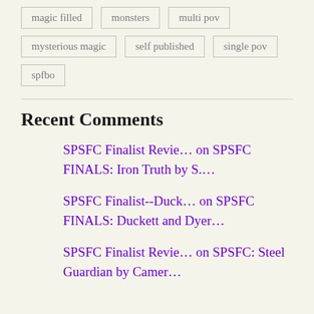magic filled
monsters
multi pov
mysterious magic
self published
single pov
spfbo
Recent Comments
SPSFC Finalist Revie… on SPSFC FINALS: Iron Truth by S….
SPSFC Finalist--Duck… on SPSFC FINALS: Duckett and Dyer…
SPSFC Finalist Revie… on SPSFC: Steel Guardian by Camer…